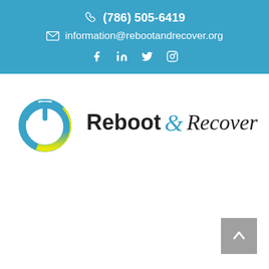(786) 505-6419  information@rebootandrecover.org
[Figure (logo): Reboot & Recover logo with power button icon (blue/yellow gradient) and text 'Reboot & Recover']
Donate
[Figure (other): Hamburger menu button (three white lines on blue background)]
[Figure (other): Scroll to top button with upward arrow on gray background]